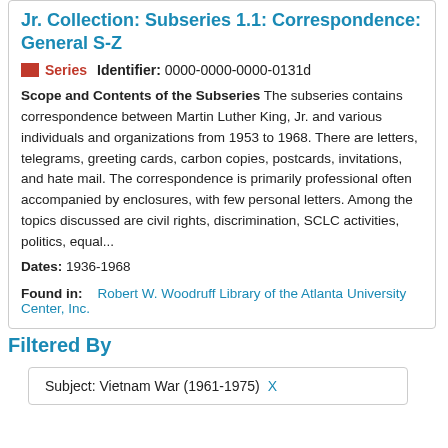Jr. Collection: Subseries 1.1: Correspondence: General S-Z
Series   Identifier: 0000-0000-0000-0131d
Scope and Contents of the Subseries The subseries contains correspondence between Martin Luther King, Jr. and various individuals and organizations from 1953 to 1968. There are letters, telegrams, greeting cards, carbon copies, postcards, invitations, and hate mail. The correspondence is primarily professional often accompanied by enclosures, with few personal letters. Among the topics discussed are civil rights, discrimination, SCLC activities, politics, equal...
Dates: 1936-1968
Found in:   Robert W. Woodruff Library of the Atlanta University Center, Inc.
Filtered By
Subject: Vietnam War (1961-1975) X